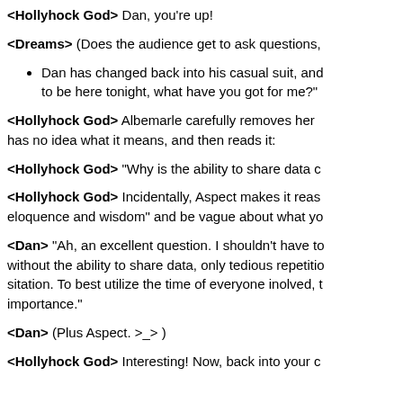<Hollyhock God> Dan, you're up!
<Dreams> (Does the audience get to ask questions,
Dan has changed back into his casual suit, and to be here tonight, what have you got for me?"
<Hollyhock God> Albemarle carefully removes her and has no idea what it means, and then reads it:
<Hollyhock God> "Why is the ability to share data c
<Hollyhock God> Incidentally, Aspect makes it reas eloquence and wisdom" and be vague about what yo
<Dan> "Ah, an excellent question. I shouldn't have to without the ability to share data, only tedious repetiti sitation. To best utilize the time of everyone inolved, t importance."
<Dan> (Plus Aspect. >_> )
<Hollyhock God> Interesting! Now, back into your c